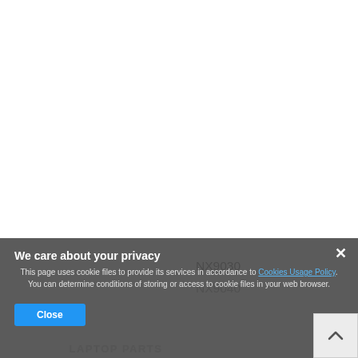NX7000
NX7010
NX7040
NX7100
NX7200
NX8000
NX8220
NX9000
NX9020
NX9030
NX9040
[Figure (screenshot): Cookie consent overlay with title 'We care about your privacy', body text about cookie policy, a Cookies Usage Policy link, and a Close button.]
LAPTOP PARTS